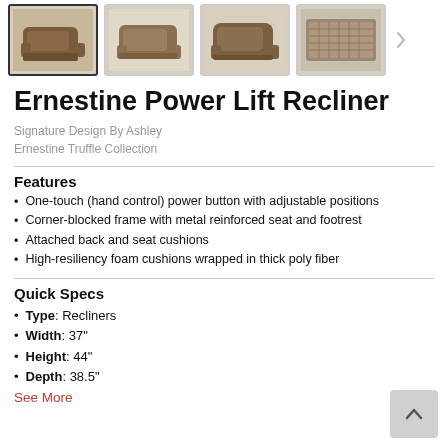[Figure (photo): Row of four product thumbnail images of the Ernestine Power Lift Recliner from different angles, the first one selected/highlighted]
Ernestine Power Lift Recliner
Signature Design By Ashley
Ernestine Truffle Collection
Features
One-touch (hand control) power button with adjustable positions
Corner-blocked frame with metal reinforced seat and footrest
Attached back and seat cushions
High-resiliency foam cushions wrapped in thick poly fiber
Quick Specs
Type: Recliners
Width: 37"
Height: 44"
Depth: 38.5"
See More